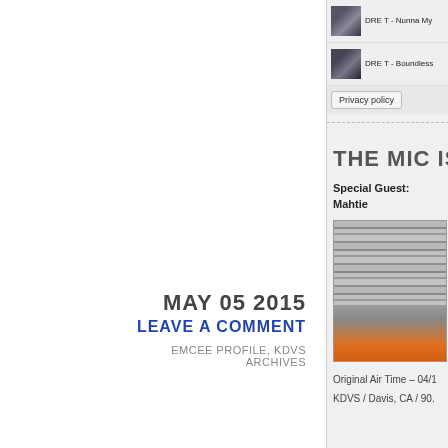DRE T - Nunna My
DRE T - Boundless
Privacy policy
MAY 05 2015
LEAVE A COMMENT
EMCEE PROFILE, KDVS ARCHIVES
THE MIC IS TH
Special Guest: Mahtie
[Figure (photo): Person at a radio station with shelves of records in background]
Original Air Time – 04/1
KDVS / Davis, CA / 90.